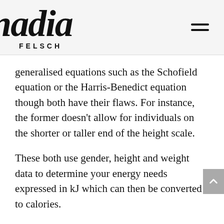nadia FELSCH
generalised equations such as the Schofield equation or the Harris-Benedict equation though both have their flaws. For instance, the former doesn't allow for individuals on the shorter or taller end of the height scale.
These both use gender, height and weight data to determine your energy needs expressed in kJ which can then be converted to calories.
Clinically and personally, I tend to rely on what's called a DEXA scan which is a form of